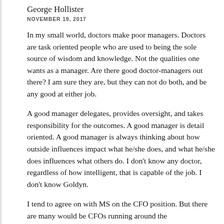George Hollister
NOVEMBER 19, 2017
In my small world, doctors make poor managers. Doctors are task oriented people who are used to being the sole source of wisdom and knowledge. Not the qualities one wants as a manager. Are there good doctor-managers out there? I am sure they are, but they can not do both, and be any good at either job.
A good manager delegates, provides oversight, and takes responsibility for the outcomes. A good manager is detail oriented. A good manager is always thinking about how outside influences impact what he/she does, and what he/she does influences what others do. I don't know any doctor, regardless of how intelligent, that is capable of the job. I don't know Goldyn.
I tend to agree on with MS on the CFO position. But there are many would be CFOs running around the